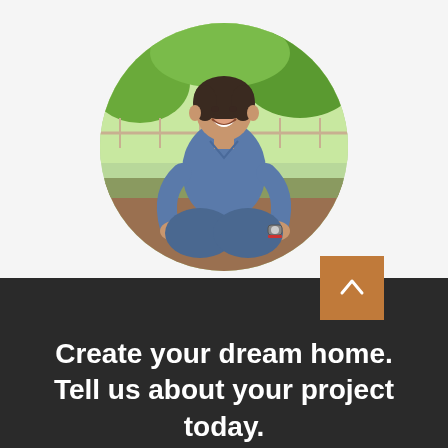[Figure (photo): Circular portrait photo of a smiling woman with short dark hair, wearing a denim shirt and jeans, sitting cross-legged outdoors in a green park setting]
Create your dream home. Tell us about your project today.